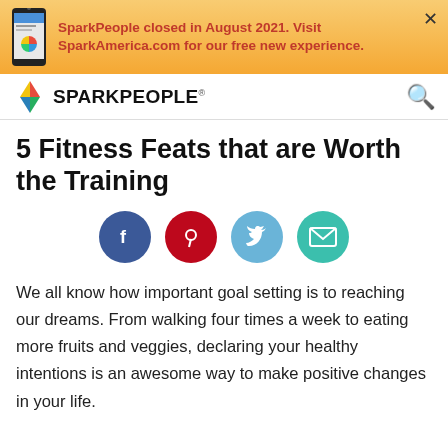[Figure (infographic): Orange gradient banner with phone image, red bold text: 'SparkPeople closed in August 2021. Visit SparkAmerica.com for our free new experience.' and an X close button.]
SPARKPEOPLE ®
5 Fitness Feats that are Worth the Training
[Figure (infographic): Four circular social sharing buttons: Facebook (dark blue), Pinterest (red), Twitter (light blue), Email (teal).]
We all know how important goal setting is to reaching our dreams. From walking four times a week to eating more fruits and veggies, declaring your healthy intentions is an awesome way to make positive changes in your life.